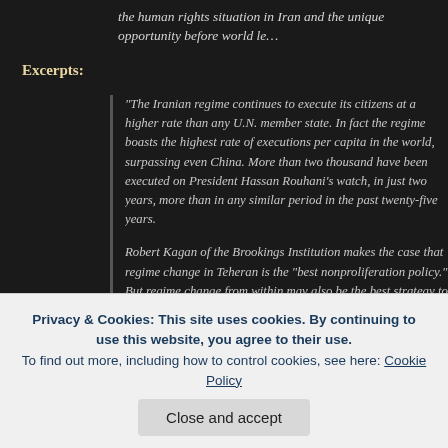the human rights situation in Iran and the unique opportunity before world le…
Excerpts:
"The Iranian regime continues to execute its citizens at a higher rate than any U.N. member state. In fact the regime boasts the highest rate of executions per capita in the world, surpassing even China. More than two thousand have been executed on President Hassan Rouhani's watch, in just two years, more than in any similar period in the past twenty-five years.
Robert Kagan of the Brookings Institution makes the case that regime change in Teheran is the "best nonproliferation policy." But regime change from within may also be the best strategy to uphold human rights.
U.S. President Barack Obama makes a mistake by treating Tehran as a fixture of the Middle East landscape but other U.S. officials need not make the same mistake. International law does not simply guarantee sovereignty. It upholds human rights. States are instruments of and…
Privacy & Cookies: This site uses cookies. By continuing to use this website, you agree to their use.
To find out more, including how to control cookies, see here: Cookie Policy